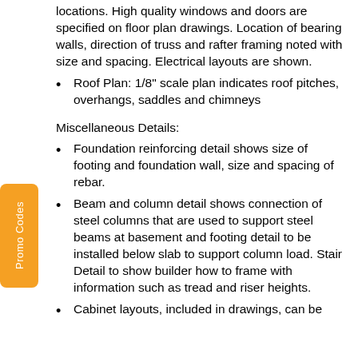locations. High quality windows and doors are specified on floor plan drawings. Location of bearing walls, direction of truss and rafter framing noted with size and spacing. Electrical layouts are shown.
Roof Plan: 1/8" scale plan indicates roof pitches, overhangs, saddles and chimneys
Miscellaneous Details:
Foundation reinforcing detail shows size of footing and foundation wall, size and spacing of rebar.
Beam and column detail shows connection of steel columns that are used to support steel beams at basement and footing detail to be installed below slab to support column load. Stair Detail to show builder how to frame with information such as tread and riser heights.
Cabinet layouts, included in drawings, can be